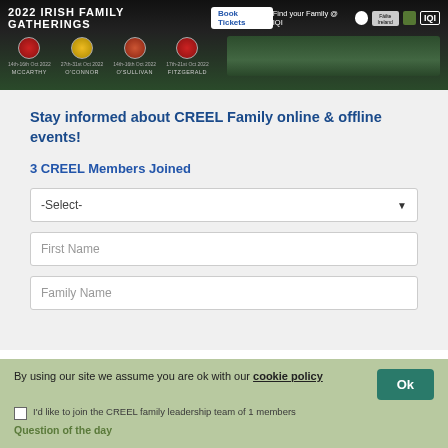[Figure (screenshot): 2022 Irish Family Gatherings banner with family crests for McCarthy, O'Connor, O'Sullivan, Fitzgerald with dates in October 2022, Book Tickets button, and logos]
Stay informed about CREEL Family online & offline events!
3 CREEL Members Joined
-Select-
First Name
Family Name
By using our site we assume you are ok with our cookie policy
Ok
I'd like to join the CREEL family leadership team of 1 members
Question of the day